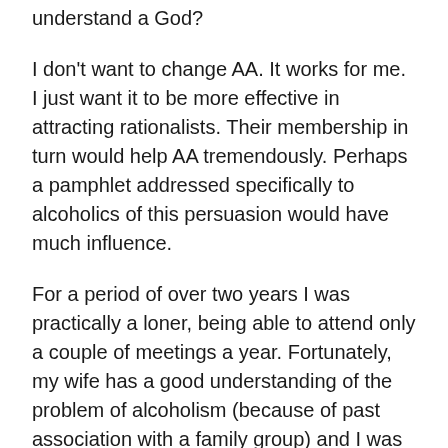understand a God?
I don't want to change AA. It works for me. I just want it to be more effective in attracting rationalists. Their membership in turn would help AA tremendously. Perhaps a pamphlet addressed specifically to alcoholics of this persuasion would have much influence.
For a period of over two years I was practically a loner, being able to attend only a couple of meetings a year. Fortunately, my wife has a good understanding of the problem of alcoholism (because of past association with a family group) and I was able to have almost daily discussions with her. Now, however, we have formed a group in this area which meets in my home, weekly.
I was not able to accept AA or the very real help it could